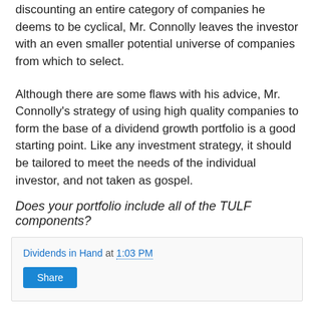discounting an entire category of companies he deems to be cyclical, Mr. Connolly leaves the investor with an even smaller potential universe of companies from which to select.
Although there are some flaws with his advice, Mr. Connolly's strategy of using high quality companies to form the base of a dividend growth portfolio is a good starting point. Like any investment strategy, it should be tailored to meet the needs of the individual investor, and not taken as gospel.
Does your portfolio include all of the TULF components?
Dividends in Hand at 1:03 PM
Share
6 comments: